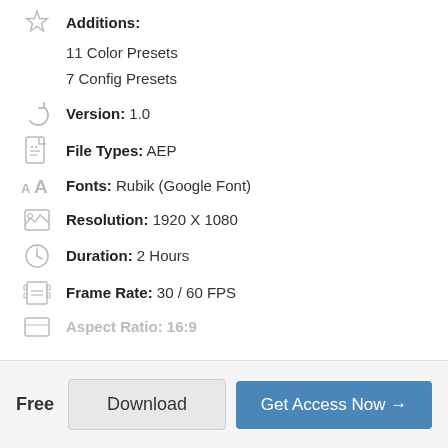Additions:
11 Color Presets
7 Config Presets
Version: 1.0
File Types: AEP
Fonts: Rubik (Google Font)
Resolution: 1920 X 1080
Duration: 2 Hours
Frame Rate: 30 / 60 FPS
Aspect Ratio: 16:9
Free
Download
Get Access Now →